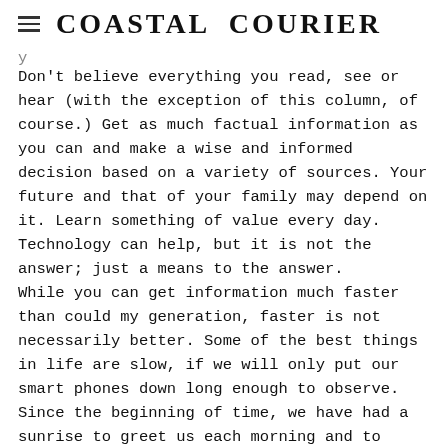Coastal Courier
Don't believe everything you read, see or hear (with the exception of this column, of course.) Get as much factual information as you can and make a wise and informed decision based on a variety of sources. Your future and that of your family may depend on it. Learn something of value every day. Technology can help, but it is not the answer; just a means to the answer.
While you can get information much faster than could my generation, faster is not necessarily better. Some of the best things in life are slow, if we will only put our smart phones down long enough to observe.
Since the beginning of time, we have had a sunrise to greet us each morning and to remind us that we have been given a new day and a new opportunity to do things better — you should always be trying to improve — and to learn from the mistakes of the previous day. Thank God for both the questions and for...